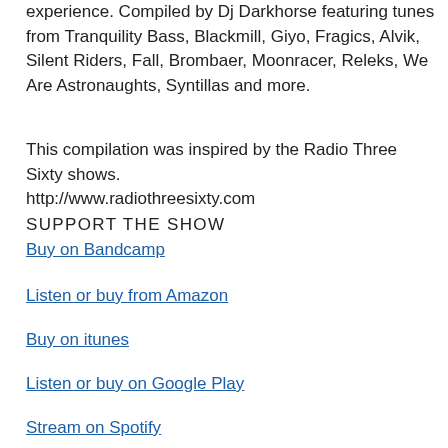experience. Compiled by Dj Darkhorse featuring tunes from Tranquility Bass, Blackmill, Giyo, Fragics, Alvik, Silent Riders, Fall, Brombaer, Moonracer, Releks, We Are Astronaughts, Syntillas and more.
This compilation was inspired by the Radio Three Sixty shows.
http://www.radiothreesixty.com
SUPPORT THE SHOW
Buy on Bandcamp
Listen or buy from Amazon
Buy on itunes
Listen or buy on Google Play
Stream on Spotify